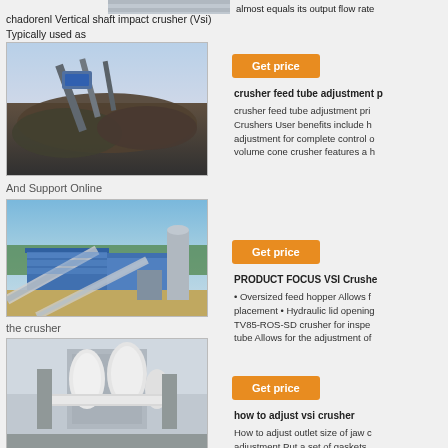[Figure (photo): Top partial image of machinery/vehicle (cropped at top)]
almost equals its output flow rate
chadorenl Vertical shaft impact crusher (Vsi) Typically used as
[Figure (photo): Outdoor industrial crushing/mining plant with conveyors and aggregate piles]
And Support Online
Get price
crusher feed tube adjustment p
crusher feed tube adjustment pri Crushers User benefits include h adjustment for complete control o volume cone crusher features a h
[Figure (photo): Large industrial plant facility with blue roofing, conveyors and silos, aerial or elevated view]
the crusher
Get price
PRODUCT FOCUS VSI Crusher
• Oversized feed hopper Allows f placement • Hydraulic lid opening TV85-ROS-SD crusher for inspe tube Allows for the adjustment of
[Figure (photo): Industrial milling/grinding plant with white pipes and cylindrical equipment]
Get price
how to adjust vsi crusher
How to adjust outlet size of jaw c adjustment Put a set of gaskets